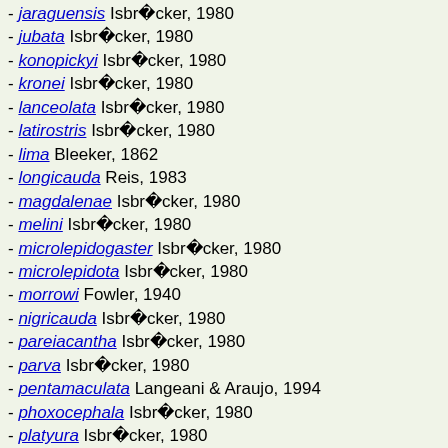- jaraguensis Isbr�cker, 1980
- jubata Isbr�cker, 1980
- konopickyi Isbr�cker, 1980
- kronei Isbr�cker, 1980
- lanceolata Isbr�cker, 1980
- latirostris Isbr�cker, 1980
- lima Bleeker, 1862
- longicauda Reis, 1983
- magdalenae Isbr�cker, 1980
- melini Isbr�cker, 1980
- microlepidogaster Isbr�cker, 1980
- microlepidota Isbr�cker, 1980
- morrowi Fowler, 1940
- nigricauda Isbr�cker, 1980
- pareiacantha Isbr�cker, 1980
- parva Isbr�cker, 1980
- pentamaculata Langeani & Araujo, 1994
- phoxocephala Isbr�cker, 1980
- platyura Isbr�cker, 1980
- quadrensis Reis, 1983
- rupestris Isbr�cker, 1980
- sneiderni Isbr�cker, 1980
- steindachneri Isbr�cker, 1980